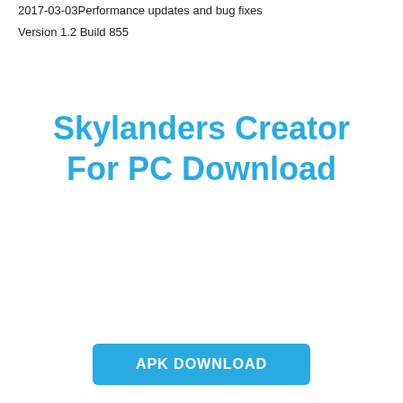2017-03-03Performance updates and bug fixes
Version 1.2 Build 855
Skylanders Creator For PC Download
APK DOWNLOAD